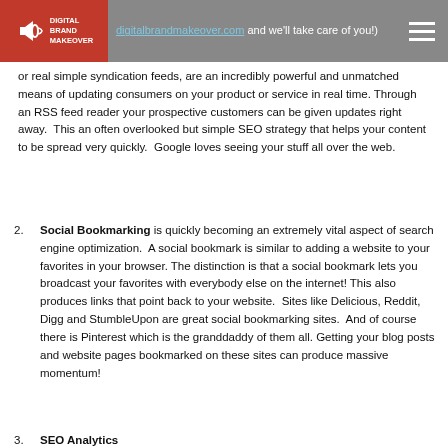digitalbrandmakeover.com and we'll take care of you!
or real simple syndication feeds, are an incredibly powerful and unmatched means of updating consumers on your product or service in real time. Through an RSS feed reader your prospective customers can be given updates right away. This an often overlooked but simple SEO strategy that helps your content to be spread very quickly. Google loves seeing your stuff all over the web.
Social Bookmarking is quickly becoming an extremely vital aspect of search engine optimization. A social bookmark is similar to adding a website to your favorites in your browser. The distinction is that a social bookmark lets you broadcast your favorites with everybody else on the internet! This also produces links that point back to your website. Sites like Delicious, Reddit, Digg and StumbleUpon are great social bookmarking sites. And of course there is Pinterest which is the granddaddy of them all. Getting your blog posts and website pages bookmarked on these sites can produce massive momentum!
SEO Analytics...